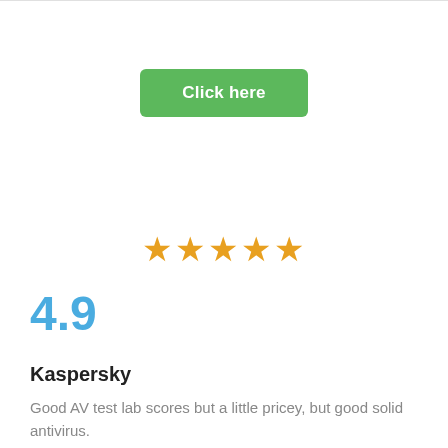[Figure (other): Green button with white text 'Click here']
[Figure (other): Five gold/orange star rating icons]
4.9
Kaspersky
Good AV test lab scores but a little pricey, but good solid antivirus.